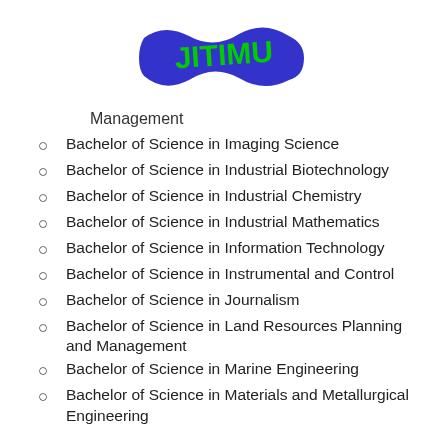[Figure (logo): JITIMU logo — wavy blue banner with green text reading JITIMU]
Management
Bachelor of Science in Imaging Science
Bachelor of Science in Industrial Biotechnology
Bachelor of Science in Industrial Chemistry
Bachelor of Science in Industrial Mathematics
Bachelor of Science in Information Technology
Bachelor of Science in Instrumental and Control
Bachelor of Science in Journalism
Bachelor of Science in Land Resources Planning and Management
Bachelor of Science in Marine Engineering
Bachelor of Science in Materials and Metallurgical Engineering